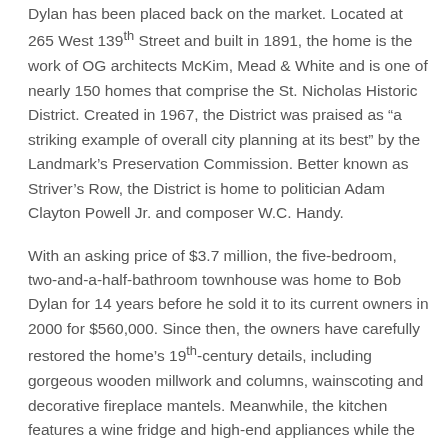Dylan has been placed back on the market. Located at 265 West 139th Street and built in 1891, the home is the work of OG architects McKim, Mead & White and is one of nearly 150 homes that comprise the St. Nicholas Historic District. Created in 1967, the District was praised as “a striking example of overall city planning at its best” by the Landmark’s Preservation Commission. Better known as Striver’s Row, the District is home to politician Adam Clayton Powell Jr. and composer W.C. Handy.
With an asking price of $3.7 million, the five-bedroom, two-and-a-half-bathroom townhouse was home to Bob Dylan for 14 years before he sold it to its current owners in 2000 for $560,000. Since then, the owners have carefully restored the home’s 19th-century details, including gorgeous wooden millwork and columns, wainscoting and decorative fireplace mantels. Meanwhile, the kitchen features a wine fridge and high-end appliances while the back patio has been modified to create a comfortable gathering place. The home also boasts a formal parlor and dining room.